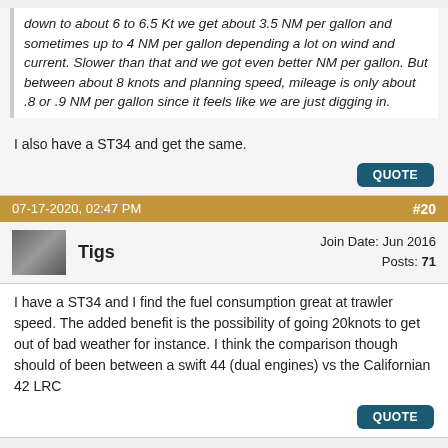down to about 6 to 6.5 Kt we get about 3.5 NM per gallon and sometimes up to 4 NM per gallon depending a lot on wind and current. Slower than that and we got even better NM per gallon. But between about 8 knots and planning speed, mileage is only about .8 or .9 NM per gallon since it feels like we are just digging in.
I also have a ST34 and get the same.
QUOTE
07-17-2020, 02:47 PM
#20
Tigs
Join Date: Jun 2016
Posts: 71
I have a ST34 and I find the fuel consumption great at trawler speed. The added benefit is the possibility of going 20knots to get out of bad weather for instance. I think the comparison though should of been between a swift 44 (dual engines) vs the Californian 42 LRC
QUOTE
New Reply